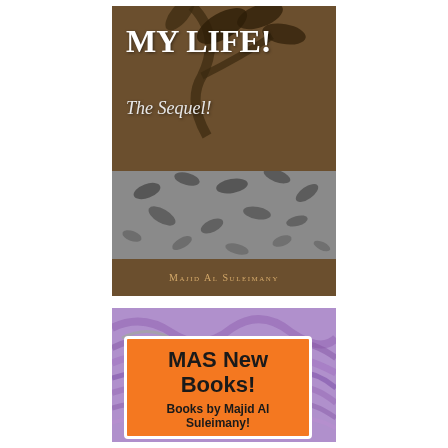[Figure (illustration): Book cover for 'MY LIFE! The Sequel!' by Majid Al Suleimany. Brown upper section with white bold title text 'MY LIFE!' and italic subtitle 'The Sequel!', decorative leaf/branch artwork. Grey middle section with falling dark leaf illustrations. Brown lower section with author name 'Majid Al Suleimany' in small caps golden text.]
[Figure (illustration): Promotional banner with purple marbled background. Orange rounded rectangle overlay containing bold black text 'MAS New Books!' and subtext 'Books by Majid Al Suleimany!']